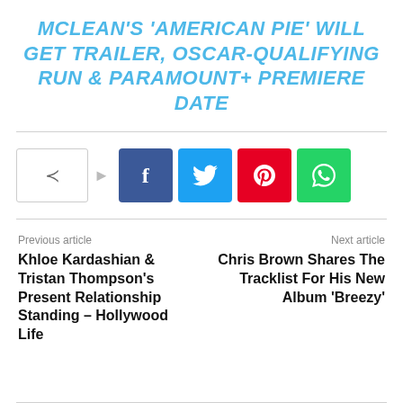MCLEAN'S 'AMERICAN PIE' WILL GET TRAILER, OSCAR-QUALIFYING RUN & PARAMOUNT+ PREMIERE DATE
[Figure (infographic): Social share buttons: share icon box with arrow, Facebook (blue), Twitter (light blue), Pinterest (red), WhatsApp (green)]
Previous article
Khloe Kardashian & Tristan Thompson's Present Relationship Standing – Hollywood Life
Next article
Chris Brown Shares The Tracklist For His New Album 'Breezy'